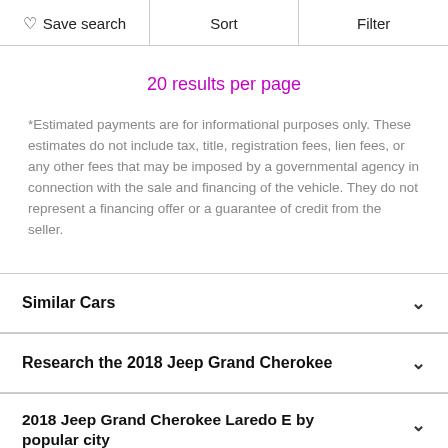Save search | Sort | Filter
20 results per page
*Estimated payments are for informational purposes only. These estimates do not include tax, title, registration fees, lien fees, or any other fees that may be imposed by a governmental agency in connection with the sale and financing of the vehicle. They do not represent a financing offer or a guarantee of credit from the seller.
Similar Cars
Research the 2018 Jeep Grand Cherokee
2018 Jeep Grand Cherokee Laredo E by popular city